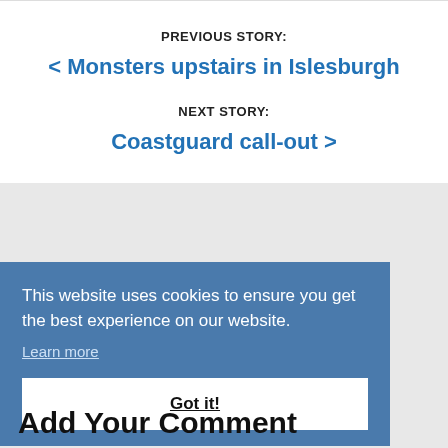PREVIOUS STORY:
< Monsters upstairs in Islesburgh
NEXT STORY:
Coastguard call-out >
This website uses cookies to ensure you get the best experience on our website.
Learn more
Got it!
Add Your Comment